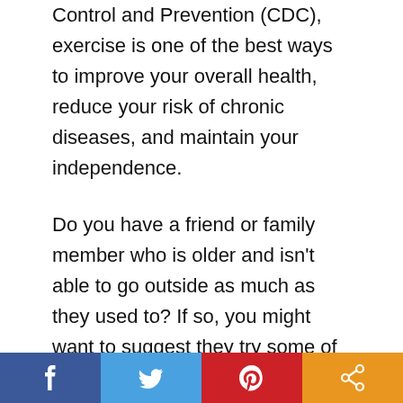Control and Prevention (CDC), exercise is one of the best ways to improve your overall health, reduce your risk of chronic diseases, and maintain your independence.
Do you have a friend or family member who is older and isn't able to go outside as much as they used to? If so, you might want to suggest they try some of the following tips for exercising outdoors. First, make sure they are wearing proper attire when they head out. This means sunscreen, sunglasses, and a hat. Second, stay hydrated by drinking plenty of fluids before, during, and after
[Figure (other): Social media share bar with Facebook, Twitter, Pinterest, and share buttons]